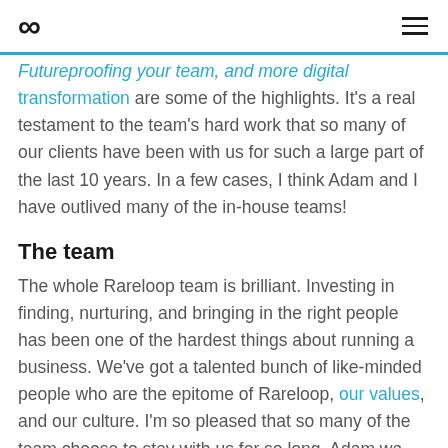∞ [logo] | [hamburger menu]
Futureproofing your team, and more digital transformation are some of the highlights. It's a real testament to the team's hard work that so many of our clients have been with us for such a large part of the last 10 years. In a few cases, I think Adam and I have outlived many of the in-house teams!
The team
The whole Rareloop team is brilliant. Investing in finding, nurturing, and bringing in the right people has been one of the hardest things about running a business. We've got a talented bunch of like-minded people who are the epitome of Rareloop, our values, and our culture. I'm so pleased that so many of the team choose to stay with us for so long. Adam wa…